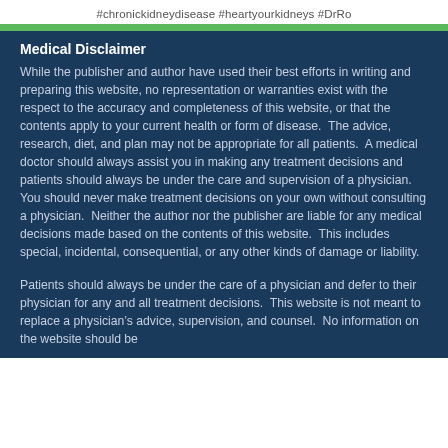#chronickidneydisease #heartyourkidneys #DrRo
Medical Disclaimer
While the publisher and author have used their best efforts in writing and preparing this website, no representation or warranties exist with the respect to the accuracy and completeness of this website, or that the contents apply to your current health or form of disease.  The advice, research, diet, and plan may not be appropriate for all patients.  A medical doctor should always assist you in making any treatment decisions and patients should always be under the care and supervision of a physician.  You should never make treatment decisions on your own without consulting a physician.  Neither the author nor the publisher are liable for any medical decisions made based on the contents of this website.  This includes special, incidental, consequential, or any other kinds of damage or liability.
Patients should always be under the care of a physician and defer to their physician for any and all treatment decisions.  This website is not meant to replace a physician’s advice, supervision, and counsel.  No information on the website should be